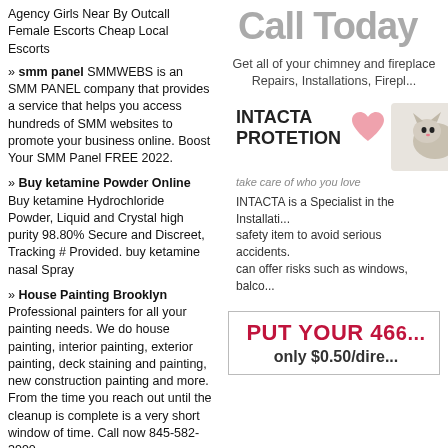Agency Girls Near By Outcall Female Escorts Cheap Local Escorts
» smm panel SMMWEBS is an SMM PANEL company that provides a service that helps you access hundreds of SMM websites to promote your business online. Boost Your SMM Panel FREE 2022.
» Buy ketamine Powder Online Buy ketamine Hydrochloride Powder, Liquid and Crystal high purity 98.80% Secure and Discreet, Tracking # Provided. buy ketamine nasal Spray
» House Painting Brooklyn Professional painters for all your painting needs. We do house painting, interior painting, exterior painting, deck staining and painting, new construction painting and more. From the time you reach out until the cleanup is complete is a very short window of time. Call now 845-582-3990
» Lawyer Gary Mazin
» RICHARD D. SCHIBELL, ATTORNEY AT LAW
» Richard D. Schibell
»Your Link Here for $0.80
Call Today
Get all of your chimney and fireplace Repairs, Installations, Firepl...
[Figure (illustration): INTACTA PROTETION advertisement with a heart graphic and a photo of a cat/animal, tagline: take care of who you love. Text: INTACTA is a Specialist in the Installation safety item to avoid serious accidents. can offer risks such as windows, balco...]
PUT YOUR 466... only $0.50/dire...